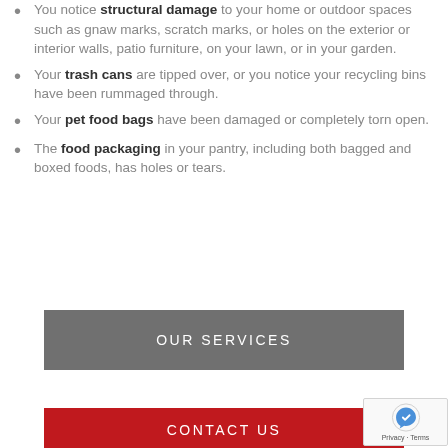You notice structural damage to your home or outdoor spaces such as gnaw marks, scratch marks, or holes on the exterior or interior walls, patio furniture, on your lawn, or in your garden.
Your trash cans are tipped over, or you notice your recycling bins have been rummaged through.
Your pet food bags have been damaged or completely torn open.
The food packaging in your pantry, including both bagged and boxed foods, has holes or tears.
OUR SERVICES
CONTACT US